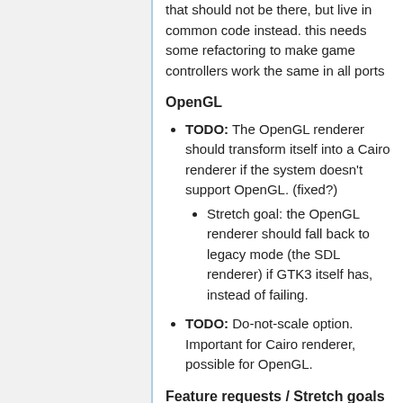that should not be there, but live in common code instead. this needs some refactoring to make game controllers work the same in all ports
OpenGL
TODO: The OpenGL renderer should transform itself into a Cairo renderer if the system doesn't support OpenGL. (fixed?)
Stretch goal: the OpenGL renderer should fall back to legacy mode (the SDL renderer) if GTK3 itself has, instead of failing.
TODO: Do-not-scale option. Important for Cairo renderer, possible for OpenGL.
Feature requests / Stretch goals
Make 'smart cartridge attach' dialog